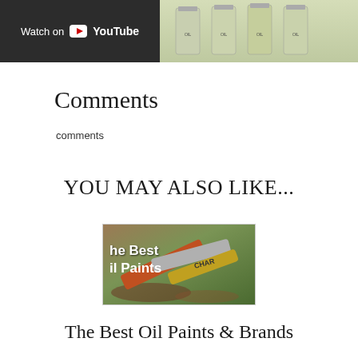[Figure (screenshot): Top banner with YouTube 'Watch on YouTube' button on dark background on left, and bottles of oil/linseed oil products on light green/grey background on right]
Comments
comments
YOU MAY ALSO LIKE...
[Figure (photo): Thumbnail image of oil paint tubes (including Charvin brand) on a painted/messy surface, with text overlay reading 'he Best il Paints' (The Best Oil Paints) in white bold text]
The Best Oil Paints & Brands